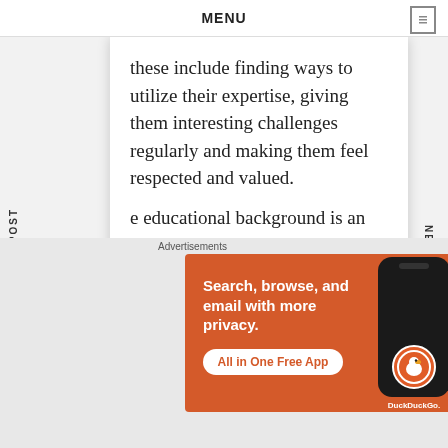MENU
these include finding ways to utilize their expertise, giving them interesting challenges regularly and making them feel respected and valued.
e educational background is an important sideration during the hiring process, you shou look at the candidates' work experience, rences, skills, traits and personalities to rmine their suitability.
PREVIOUS POST
NEXT POST
Advertisements
[Figure (infographic): DuckDuckGo advertisement banner on orange background. Text: 'Search, browse, and email with more privacy. All in One Free App' with DuckDuckGo logo on a phone mockup.]